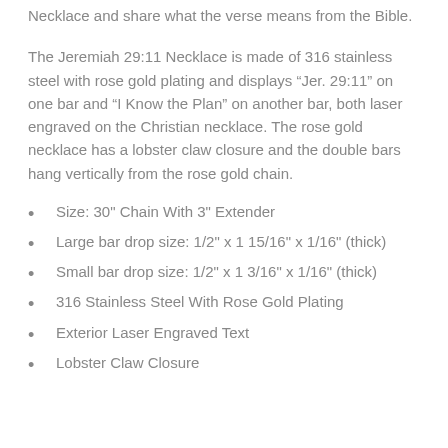Necklace and share what the verse means from the Bible.
The Jeremiah 29:11 Necklace is made of 316 stainless steel with rose gold plating and displays “Jer. 29:11” on one bar and “I Know the Plan” on another bar, both laser engraved on the Christian necklace. The rose gold necklace has a lobster claw closure and the double bars hang vertically from the rose gold chain.
Size: 30" Chain With 3" Extender
Large bar drop size: 1/2" x 1 15/16" x 1/16" (thick)
Small bar drop size: 1/2" x 1 3/16" x 1/16" (thick)
316 Stainless Steel With Rose Gold Plating
Exterior Laser Engraved Text
Lobster Claw Closure